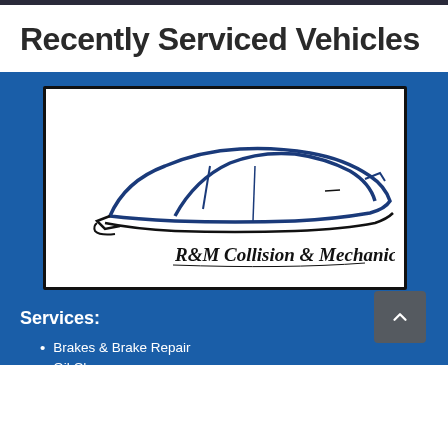Recently Serviced Vehicles
[Figure (logo): R&M Collision & Mechanical Inc. logo featuring a stylized car silhouette in blue and black with the company name in cursive script below]
Services:
Brakes & Brake Repair
Oil Changes
Tires & Tire Repair